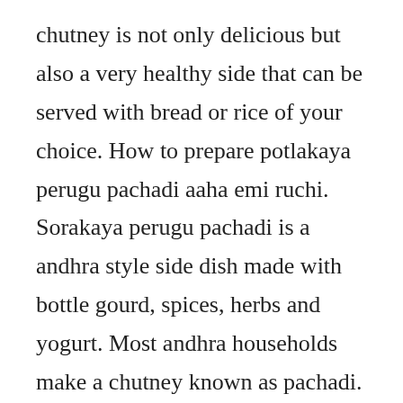chutney is not only delicious but also a very healthy side that can be served with bread or rice of your choice. How to prepare potlakaya perugu pachadi aaha emi ruchi. Sorakaya perugu pachadi is a andhra style side dish made with bottle gourd, spices, herbs and yogurt. Most andhra households make a chutney known as pachadi. Free wild stock video footage licensed under creative commons, open source, and more. This is a healthy vegan recipe, quick to make and needs nothing much than few indian seasoning items like mustard seeds, cumin seeds, blackgram